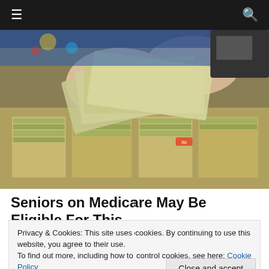≡ [menu icon] | [search icon]
[Figure (photo): Hands counting US dollar bills over a cash register drawer filled with stacked currency.]
Seniors on Medicare May Be Eligible For This
Privacy & Cookies: This site uses cookies. By continuing to use this website, you agree to their use.
To find out more, including how to control cookies, see here: Cookie Policy
Close and accept
[Figure (photo): Partial view of a person at the bottom of the page.]